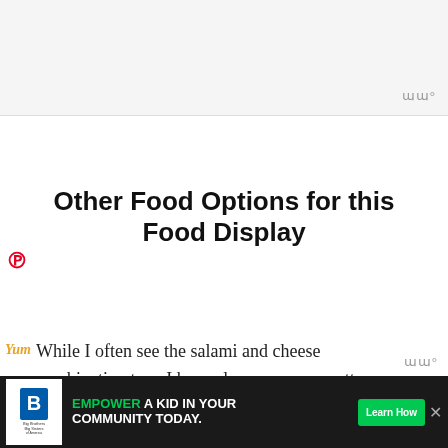[Figure (screenshot): Top gray banner area, likely advertisement space]
Other Food Options for this Food Display
While I often see the salami and cheese combination tray, I have also seen very pretty displays for fruit and veggies too. Switch it up and be creative.
Vegetable charcuterie: Serve bite-sized vegetables with a variety of dips. Vegetable ideas: cucumber, carrots, olives, mini bell peppers, green on...
[Figure (photo): Thumbnail food photo next to 'What's Next' panel showing 'How to Pan Fry a Steak']
[Figure (screenshot): Bottom advertisement banner: Big Brothers Big Sisters - 'Empower a kid in your community today']